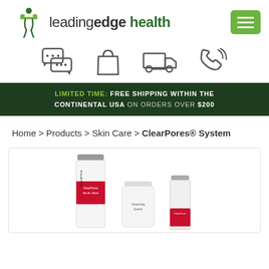[Figure (logo): Leading Edge Health logo with green figure and leaf motif, text 'leadingedgehealth']
[Figure (infographic): Four icons in a row: chat/speech bubbles, shopping bag, delivery truck, phone with signal waves]
LIMITED TIME: FREE SHIPPING WITHIN THE CONTINENTAL USA ON ORDERS OVER $200
Home > Products > Skin Care > ClearPores® System
[Figure (photo): ClearPores product set showing three items: a tall bottle/pump (facial wash), a round supplement bottle, and a smaller serum tube, all with red and silver branding]